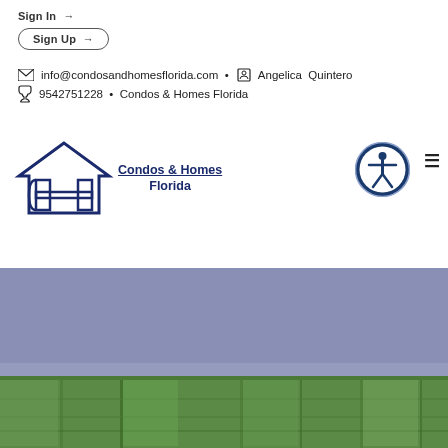Sign In →
Sign Up →
info@condosandhomesflorida.com · Angelica Quintero
9542751228 · Condos & Homes Florida
[Figure (logo): Condos & Homes Florida logo with house icon and text]
[Figure (other): Accessibility button icon (person in circle)]
[Figure (photo): Aerial photograph of Florida landscape with fields and sky]